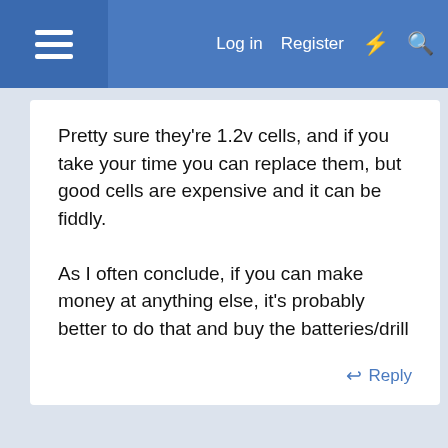Log in  Register
Pretty sure they're 1.2v cells, and if you take your time you can replace them, but good cells are expensive and it can be fiddly.

As I often conclude, if you can make money at anything else, it's probably better to do that and buy the batteries/drill
↩ Reply
Advertisement
Report Ad
[Figure (screenshot): Nota advertisement banner: Nota logo, 'Book A Demo Today' text, and Open button]